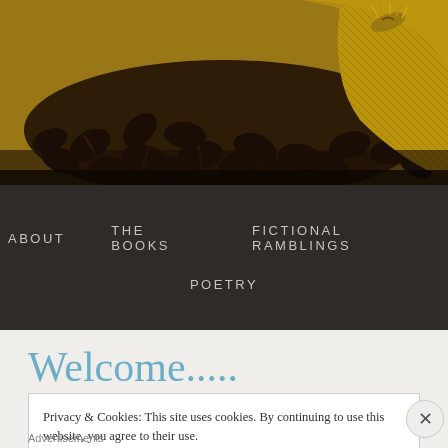[Figure (photo): Close-up photo of dark roasted coffee beans spilling from a burlap sack on a burlap surface, warm golden-brown tones]
ABOUT   THE BOOKS   FICTIONAL RAMBLINGS   POETRY
Welcome.....
Privacy & Cookies: This site uses cookies. By continuing to use this website, you agree to their use.
To find out more, including how to control cookies, see here: Cookie Policy
Close and accept
Advertisements